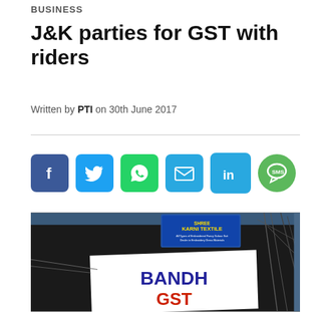BUSINESS
J&K parties for GST with riders
Written by PTI on 30th June 2017
[Figure (other): Social media share icons: Facebook, Twitter, WhatsApp, Email, LinkedIn, SMS]
[Figure (photo): A man holding a banner that reads 'BANDH GST' with a shop sign 'KARNI TEXTILE' visible in the background and electrical wires on the right side]